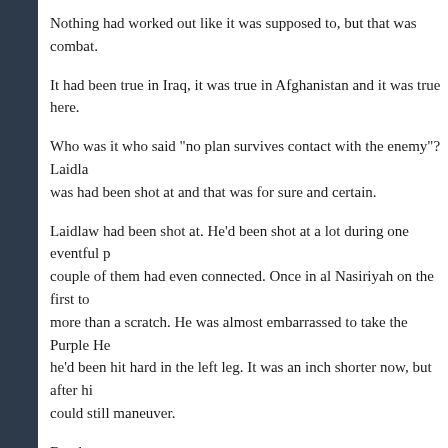Nothing had worked out like it was supposed to, but that was combat.
It had been true in Iraq, it was true in Afghanistan and it was true here.
Who was it who said "no plan survives contact with the enemy"? Laidla… was had been shot at and that was for sure and certain.
Laidlaw had been shot at. He'd been shot at a lot during one eventful p… couple of them had even connected. Once in al Nasiriyah on the first to… more than a scratch. He was almost embarrassed to take the Purple He… he'd been hit hard in the left leg. It was an inch shorter now, but after hi… could still maneuver.
Barely.
But at least then he'd been fighting with other pros. This - well, this was… stupid newbies. They were a danger to themselves and a danger to him… shame that a bunch of them were sure to die this day and it was all so p…
Or at least, it had been.
Time's up, Cathcart, you idiot.
Laidlaw looked to his left, across the street. The leader of his militia uni…